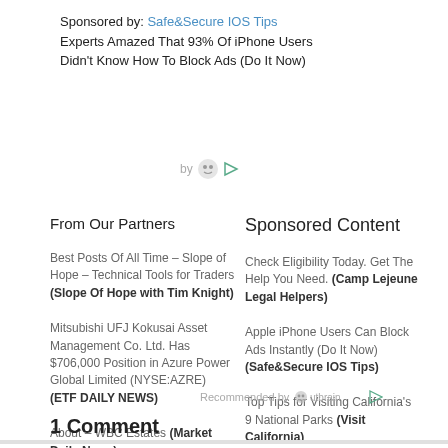Sponsored by: Safe&Secure IOS Tips Experts Amazed That 93% Of iPhone Users Didn't Know How To Block Ads (Do It Now)
[Figure (logo): by Outbrain logo with play icon]
From Our Partners
Sponsored Content
Best Posts Of All Time – Slope of Hope – Technical Tools for Traders (Slope Of Hope with Tim Knight)
Check Eligibility Today. Get The Help You Need. (Camp Lejeune Legal Helpers)
Mitsubishi UFJ Kokusai Asset Management Co. Ltd. Has $706,000 Position in Azure Power Global Limited (NYSE:AZRE) (ETF DAILY NEWS)
Apple iPhone Users Can Block Ads Instantly (Do It Now) (Safe&Secure IOS Tips)
About – WBC Estates (Market Daily News)
Top Tips for Visiting California's 9 National Parks (Visit California)
Recommended by Outbrain
1 Comment